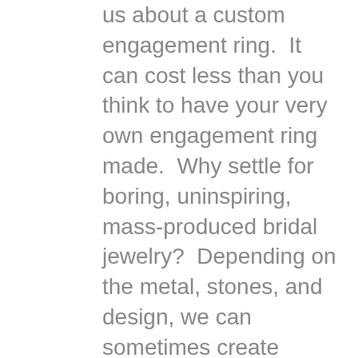us about a custom engagement ring.  It can cost less than you think to have your very own engagement ring made.  Why settle for boring, uninspiring, mass-produced bridal jewelry?  Depending on the metal, stones, and design, we can sometimes create custom Custom Batman Engagement Ring designs for less than comparable rings cost at the mall.